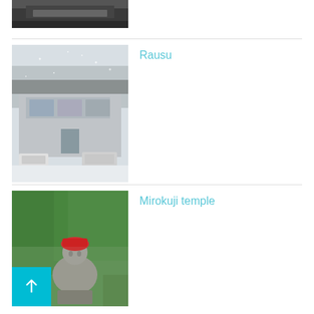[Figure (photo): Partial view of a building rooftop/overhang from above, dark tones]
[Figure (photo): Snowy street scene of a small Japanese town with shops and parked cars in winter]
Rausu
[Figure (photo): Stone Buddhist statue wearing a red hat sitting on a pedestal surrounded by green trees at Mirokuji temple]
Mirokuji temple